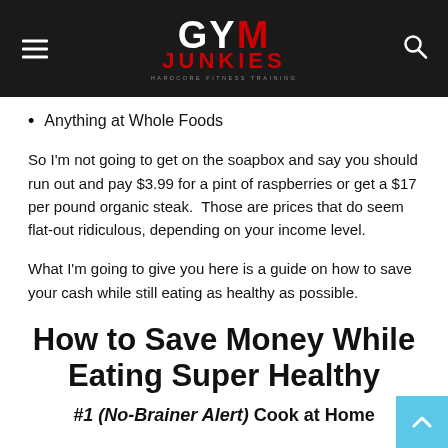GYM JUNKIES — HARDCORE FITNESS TRAINING
Anything at Whole Foods
So I'm not going to get on the soapbox and say you should run out and pay $3.99 for a pint of raspberries or get a $17 per pound organic steak.  Those are prices that do seem flat-out ridiculous, depending on your income level.
What I'm going to give you here is a guide on how to save your cash while still eating as healthy as possible.
How to Save Money While Eating Super Healthy
#1 (No-Brainer Alert) Cook at Home